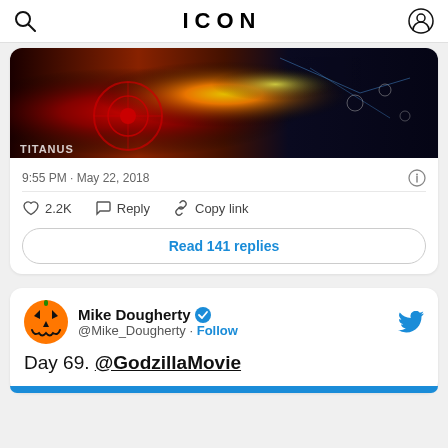ICON
[Figure (screenshot): Tweet image showing a radar/movie poster graphic with red circular elements and fiery colors on dark background, labeled TITANUS at bottom left]
9:55 PM · May 22, 2018
2.2K  Reply  Copy link
Read 141 replies
Mike Dougherty @Mike_Dougherty · Follow
Day 69. @GodzillaMovie